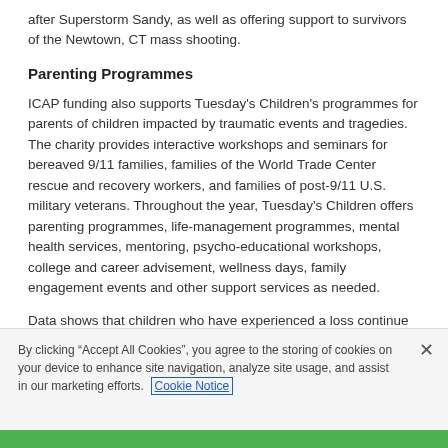after Superstorm Sandy, as well as offering support to survivors of the Newtown, CT mass shooting.
Parenting Programmes
ICAP funding also supports Tuesday's Children's programmes for parents of children impacted by traumatic events and tragedies. The charity provides interactive workshops and seminars for bereaved 9/11 families, families of the World Trade Center rescue and recovery workers, and families of post-9/11 U.S. military veterans. Throughout the year, Tuesday's Children offers parenting programmes, life-management programmes, mental health services, mentoring, psycho-educational workshops, college and career advisement, wellness days, family engagement events and other support services as needed.
Data shows that children who have experienced a loss continue to grieve throughout their lives, and reactions in later years can be as
By clicking “Accept All Cookies”, you agree to the storing of cookies on your device to enhance site navigation, analyze site usage, and assist in our marketing efforts. Cookie Notice